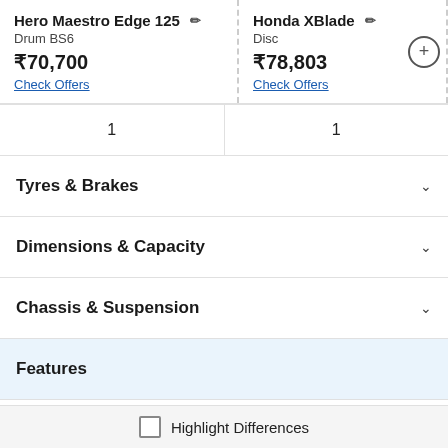| Hero Maestro Edge 125 | Honda XBlade |
| --- | --- |
| Drum BS6 | Disc |
| ₹70,700 | ₹78,803 |
| Check Offers | Check Offers |
| 1 | 1 |
Tyres & Brakes
Dimensions & Capacity
Chassis & Suspension
Features
Charging
Highlight Differences